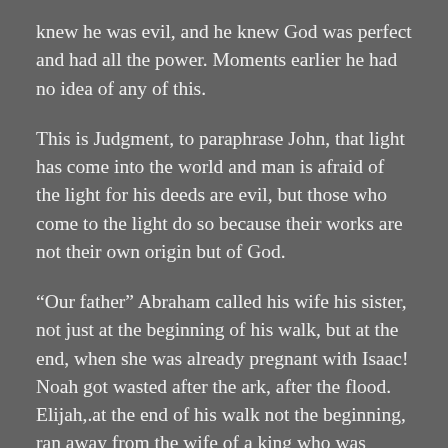knew he was evil, and he knew God was perfect and had all the power. Moments earlier he had no idea of any of this.
This is Judgment, to paraphrase John, that light has come into the world and man is afraid of the light for his deeds are evil, but those who come to the light do so because their works are not their own origin but of God.
“Our father” Abraham called his wife his sister, not just at the beginning of his walk, but at the end, when she was already pregnant with Isaac! Noah got wasted after the ark, after the flood. Elijah,.at the end of his walk not the beginning, ran away from the wife of a king who was